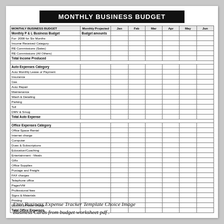MONTHLY BUSINESS BUDGET
| MONTHLY BUSINESS BUDGET | Monthly Projected | Jan | Feb | Mar | Apr | May | Jun |
| --- | --- | --- | --- | --- | --- | --- | --- |
| Monthly P & L Business Budget | Budget amounts |  |  |  |  |  |  |
| For: 2008 for Six Months |  |  |  |  |  |  |  |
| Income Received Category |  |  |  |  |  |  |  |
| RE Commissions (Sales) |  |  |  |  |  |  |  |
| RE Commissions (All Others) |  |  |  |  |  |  |  |
| Total Income Produced |  |  |  |  |  |  |  |
|  |  |  |  |  |  |  |  |
| Auto Expenses Category |  |  |  |  |  |  |  |
| Auto Monthly Lease or Payment |  |  |  |  |  |  |  |
| Insurance |  |  |  |  |  |  |  |
| Gas |  |  |  |  |  |  |  |
| Auto Repair |  |  |  |  |  |  |  |
| Maintenance |  |  |  |  |  |  |  |
| Wash & Detailing |  |  |  |  |  |  |  |
| Parking |  |  |  |  |  |  |  |
| Toll |  |  |  |  |  |  |  |
| DMV & Smog |  |  |  |  |  |  |  |
| Total Auto Expense |  |  |  |  |  |  |  |
|  |  |  |  |  |  |  |  |
| Office Expenses Category |  |  |  |  |  |  |  |
| Office Space Rental |  |  |  |  |  |  |  |
| Internet charge |  |  |  |  |  |  |  |
| Computer |  |  |  |  |  |  |  |
| Dues & Subscriptions |  |  |  |  |  |  |  |
| Education/Coaching |  |  |  |  |  |  |  |
| Entertainment - Meals |  |  |  |  |  |  |  |
| Gifts |  |  |  |  |  |  |  |
| Office Supplies |  |  |  |  |  |  |  |
| Postage and Freight |  |  |  |  |  |  |  |
| FAX charges |  |  |  |  |  |  |  |
| Telephone office |  |  |  |  |  |  |  |
| Pager/VM |  |  |  |  |  |  |  |
| Professional fees |  |  |  |  |  |  |  |
| Signs & Materials |  |  |  |  |  |  |  |
| Printing |  |  |  |  |  |  |  |
| Electric & Power charge |  |  |  |  |  |  |  |
| Total Office Expenses |  |  |  |  |  |  |  |
Free Business Expense Tracker Template Choice Image Business Cards from budget worksheet pdf .